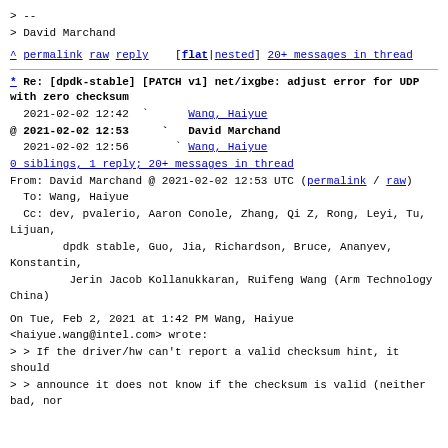> --
> David Marchand
^ permalink raw reply [flat|nested] 20+ messages in thread
* Re: [dpdk-stable] [PATCH v1] net/ixgbe: adjust error for UDP with zero checksum
2021-02-02 12:42  ` Wang, Haiyue
@ 2021-02-02 12:53    ` David Marchand
  2021-02-02 12:56      ` Wang, Haiyue
  0 siblings, 1 reply; 20+ messages in thread
From: David Marchand @ 2021-02-02 12:53 UTC (permalink / raw)
  To: Wang, Haiyue
  Cc: dev, pvalerio, Aaron Conole, Zhang, Qi Z, Rong, Leyi, Tu, Lijuan,
        dpdk stable, Guo, Jia, Richardson, Bruce, Ananyev, Konstantin,
        Jerin Jacob Kollanukkaran, Ruifeng Wang (Arm Technology China)
On Tue, Feb 2, 2021 at 1:42 PM Wang, Haiyue
<haiyue.wang@intel.com> wrote:
> > If the driver/hw can't report a valid checksum hint, it should
> > announce it does not know if the checksum is valid (neither bad, nor